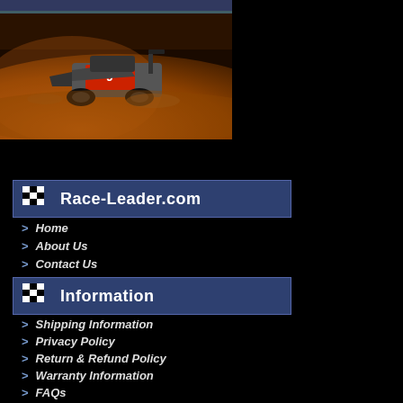[Figure (photo): Dirt track racing car (modified, red and gray) on a dirt oval track at night under warm orange lighting.]
Race-Leader.com
Home
About Us
Contact Us
Information
Shipping Information
Privacy Policy
Return & Refund Policy
Warranty Information
FAQs